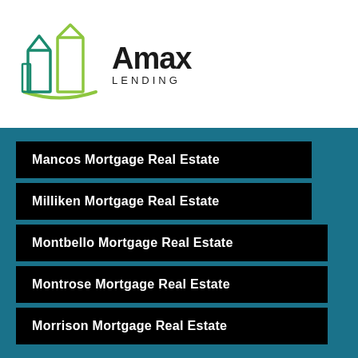[Figure (logo): Amax Lending logo with green building outline icon and bold black text]
Mancos Mortgage Real Estate
Milliken Mortgage Real Estate
Montbello Mortgage Real Estate
Montrose Mortgage Real Estate
Morrison Mortgage Real Estate